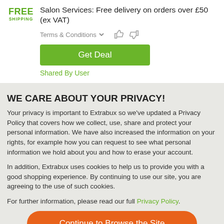[Figure (logo): FREE SHIPPING green text logo]
Salon Services: Free delivery on orders over £50 (ex VAT)
Terms & Conditions
Get Deal
Shared By User
WE CARE ABOUT YOUR PRIVACY!
Your privacy is important to Extrabux so we've updated a Privacy Policy that covers how we collect, use, share and protect your personal information. We have also increased the information on your rights, for example how you can request to see what personal information we hold about you and how to erase your account.
In addition, Extrabux uses cookies to help us to provide you with a good shopping experience. By continuing to use our site, you are agreeing to the use of such cookies.
For further information, please read our full Privacy Policy.
Continue to Browse the Site